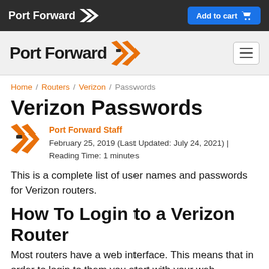Port Forward | Add to cart
Port Forward
Home / Routers / Verizon / Passwords
Verizon Passwords
Port Forward Staff
February 25, 2019 (Last Updated: July 24, 2021) | Reading Time: 1 minutes
This is a complete list of user names and passwords for Verizon routers.
How To Login to a Verizon Router
Most routers have a web interface. This means that in order to login to them you start with your web